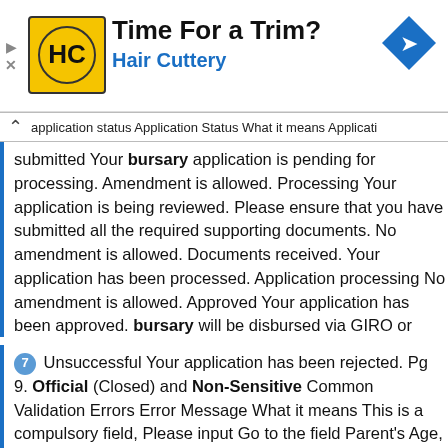[Figure (other): Advertisement banner for Hair Cuttery with yellow logo, 'Time For a Trim?' headline, blue subtext 'Hair Cuttery', and a blue diamond navigation arrow icon on the right.]
application status Application Status What it means Application submitted Your bursary application is pending for processing. Amendment is allowed. Processing Your application is being reviewed. Please ensure that you have submitted all the required supporting documents. No amendment is allowed. Documents received. Your application has been processed. Application processing No amendment is allowed. Approved Your application has been approved. bursary will be disbursed via GIRO or PayNow. Please refer to your email for disbursement details.
7 Unsuccessful Your application has been rejected. Pg 9. Official (Closed) and Non-Sensitive Common Validation Errors Error Message What it means This is a compulsory field, Please input Go to the field Parent's Age, Parent's a value remarks and etc. to input the required information. Parents' Remarks is a compulsory field, Go to Step 2. the Parents' remark field (see please enter a value pg. 6) input the required information. For Occupation (Unemployed / Self-employed). In the Remarks field: if unemployed, state reason (eg.